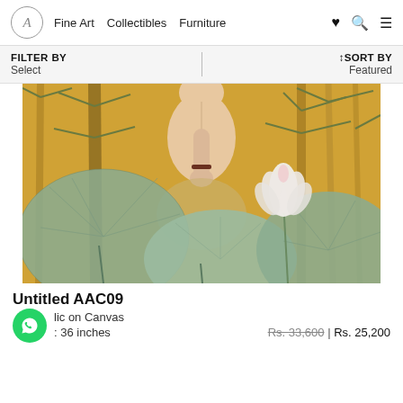A Fine Art  Collectibles  Furniture
FILTER BY
Select
SORT BY
Featured
[Figure (illustration): Painting of a figure seen from behind, seated among large lotus leaves on golden/yellow background with bamboo. A white lotus flower bloom is visible on the right side. The figure has a dark bracelet on one wrist.]
Untitled AAC09
Acrylic on Canvas
36 inches
Rs. 33,600 | Rs. 25,200